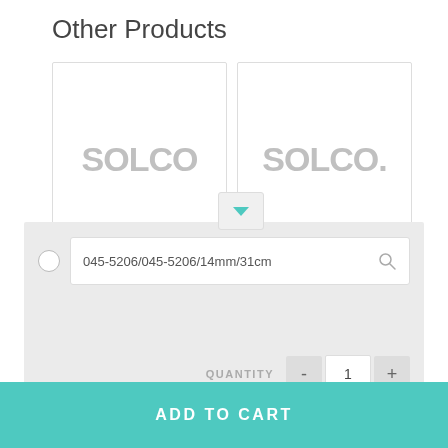Other Products
[Figure (screenshot): Two product image cards side by side, each showing the SOLCO logo in gray. A dropdown chevron button overlaps the bottom center of the cards.]
045-5206/045-5206/14mm/31cm
QUANTITY  -  1  +
ADD TO CART